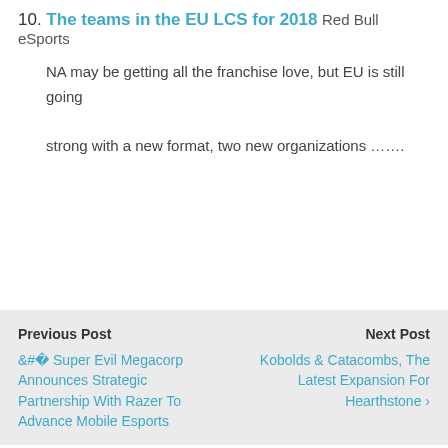10. The teams in the EU LCS for 2018 Red Bull eSports
NA may be getting all the franchise love, but EU is still going strong with a new format, two new organizations .......
Previous Post
‹ Super Evil Megacorp Announces Strategic Partnership With Razer To Advance Mobile Esports
Next Post
Kobolds & Catacombs, The Latest Expansion For Hearthstone ›
↑ Back to top
We use cookies to ensure that we give you the best experience on our website. If you continue to use this site we will assume that you are happy with it.
Mobile  Desktop
Ok